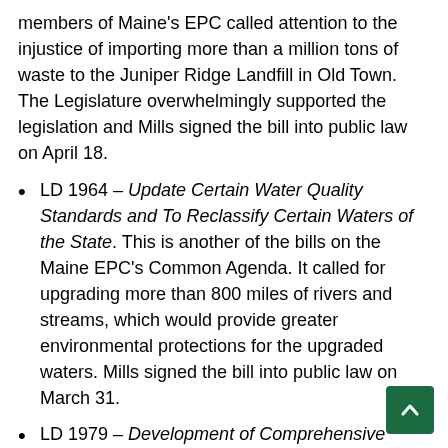members of Maine's EPC called attention to the injustice of importing more than a million tons of waste to the Juniper Ridge Landfill in Old Town. The Legislature overwhelmingly supported the legislation and Mills signed the bill into public law on April 18.
LD 1964 – Update Certain Water Quality Standards and To Reclassify Certain Waters of the State. This is another of the bills on the Maine EPC's Common Agenda. It called for upgrading more than 800 miles of rivers and streams, which would provide greater environmental protections for the upgraded waters. Mills signed the bill into public law on March 31.
LD 1979 – Development of Comprehensive River Resource Management Plans. This too was legislation on the Common Agenda of Maine's EPC. It directs Maine's Department of Environmental Protection to study the current process for development of comprehensive river